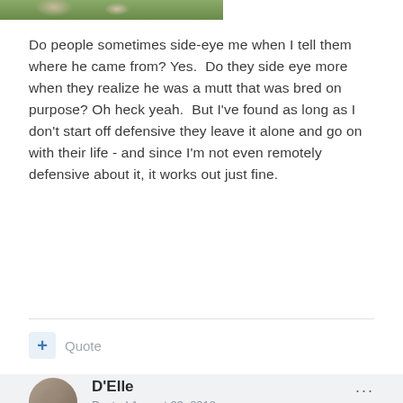[Figure (photo): Partial view of a dog photo, cropped at top, showing fur and green grass background]
Do people sometimes side-eye me when I tell them where he came from? Yes.  Do they side eye more when they realize he was a mutt that was bred on purpose? Oh heck yeah.  But I've found as long as I don't start off defensive they leave it alone and go on with their life - and since I'm not even remotely defensive about it, it works out just fine.
D'Elle
Posted August 23, 2018
I agree with all of the above.